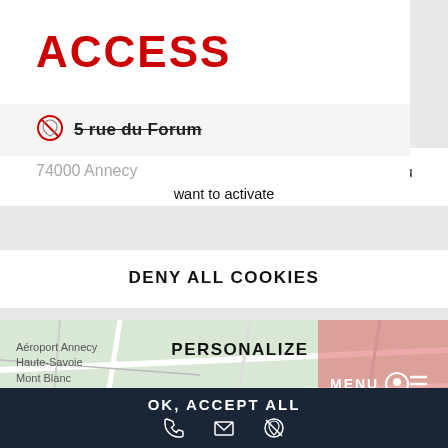ACCESS
5 rue du Forum
74000 Annecy
This site uses cookies and gives you control over what you want to activate
DENY ALL COOKIES
[Figure (map): Map showing Aéroport Annecy Haute-Savoie Mont Blanc area]
PERSONALIZE
MENU
OK, ACCEPT ALL